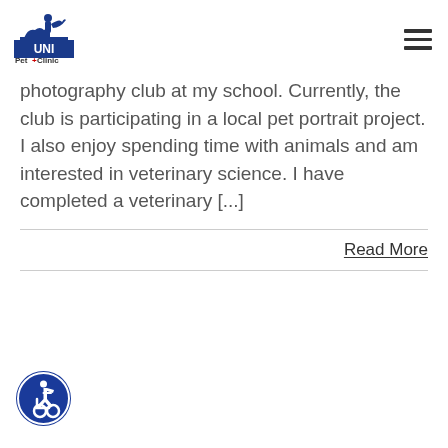UNI Pet+Clinic logo and hamburger menu
photography club at my school. Currently, the club is participating in a local pet portrait project. I also enjoy spending time with animals and am interested in veterinary science. I have completed a veterinary [...]
Read More
[Figure (illustration): Accessibility icon: circular blue badge with white wheelchair user symbol]